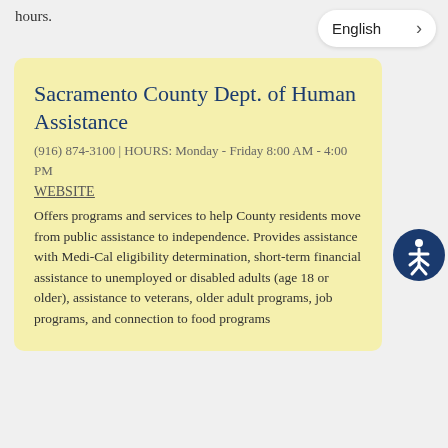hours.
Sacramento County Dept. of Human Assistance
(916) 874-3100 | HOURS: Monday - Friday 8:00 AM - 4:00 PM
WEBSITE
Offers programs and services to help County residents move from public assistance to independence. Provides assistance with Medi-Cal eligibility determination, short-term financial assistance to unemployed or disabled adults (age 18 or older), assistance to veterans, older adult programs, job programs, and connection to food programs